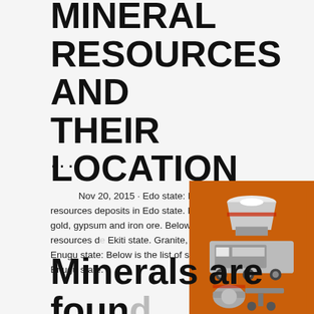MINERAL RESOURCES AND THEIR LOCATION
...
Nov 20, 2015 · Edo state: Below is the list of minerals resources deposits in Edo state. Mar limestone, lignite, gold, gypsum and iron ore. Below is the list of solid minerals resources deposits in Ekiti state. Granite, feldspar, kaolin, syenite and Enugu state: Below is the list of solid minerals deposits in Enugu state.
[Figure (illustration): Orange advertisement panel showing industrial mining/crushing machinery. Text reads: Enjoy 3% discount, Click to Chat (with strikethrough), Enquiry, limingjlmofen@sina.com]
Minerals are found in which and which locations in edo state